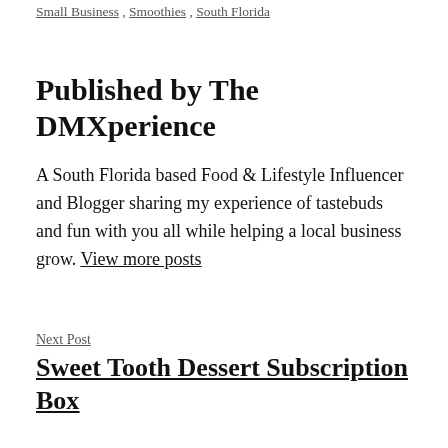Small Business , Smoothies , South Florida
Published by The DMXperience
A South Florida based Food & Lifestyle Influencer and Blogger sharing my experience of tastebuds and fun with you all while helping a local business grow. View more posts
Next Post
Sweet Tooth Dessert Subscription Box